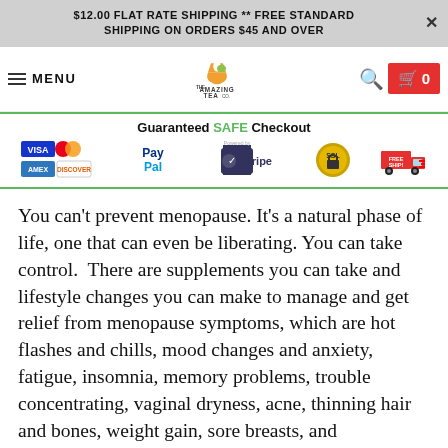$12.00 FLAT RATE SHIPPING ** FREE STANDARD SHIPPING ON ORDERS $45 AND OVER
[Figure (screenshot): Website navigation bar with hamburger menu, MENU text, The Amazing Tea Co. logo, search icon, and red cart button showing 0 items]
[Figure (infographic): Guaranteed SAFE Checkout bar with payment icons: Visa, Mastercard, American Express, Discover, PayPal, Stripe, SSL seal, and Free Shipping truck]
You can't prevent menopause. It's a natural phase of life, one that can even be liberating. You can take control. There are supplements you can take and lifestyle changes you can make to manage and get relief from menopause symptoms, which are hot flashes and chills, mood changes and anxiety, fatigue, insomnia, memory problems, trouble concentrating, vaginal dryness, acne, thinning hair and bones, weight gain, sore breasts, and